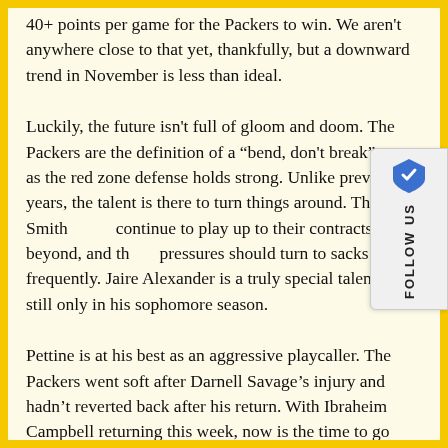40+ points per game for the Packers to win. We aren't anywhere close to that yet, thankfully, but a downward trend in November is less than ideal.
Luckily, the future isn't full of gloom and doom. The Packers are the definition of a “bend, don't break” team, as the red zone defense holds strong. Unlike previous years, the talent is there to turn things around. The Smiths continue to play up to their contracts and beyond, and the pressures should turn to sacks more frequently. Jaire Alexander is a truly special talent, and still only in his sophomore season.
Pettine is at his best as an aggressive playcaller. The Packers went soft after Darnell Savage’s injury and hadn’t reverted back after his return. With Ibraheim Campbell returning this week, now is the time to go back to that aggressive style.
In fact, Campbell’s return could be the key to setting the defensive ship back on course. Campbell fills the box role left by all means of argument to be the key to that
[Figure (other): Follow Us widget with Brave browser shield icon and vertical text reading FOLLOW US]